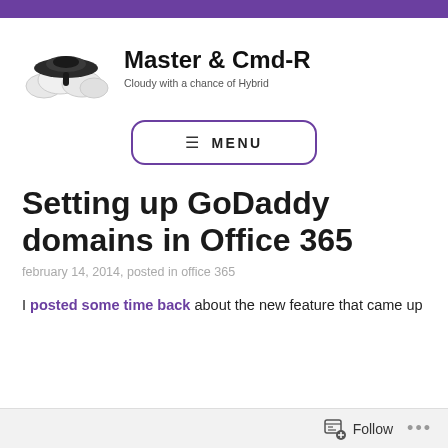Master & Cmd-R — Cloudy with a chance of Hybrid
[Figure (logo): Cloud and dark disc/UFO logo for Master & Cmd-R blog]
Master & Cmd-R
Cloudy with a chance of Hybrid
≡ MENU
Setting up GoDaddy domains in Office 365
february 14, 2014, posted in office 365
I posted some time back about the new feature that came up
Follow  ...